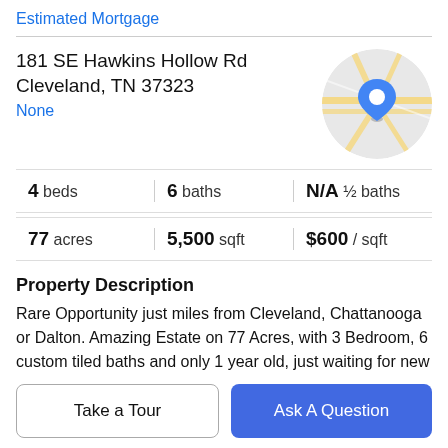Estimated Mortgage
181 SE Hawkins Hollow Rd
Cleveland, TN 37323
None
[Figure (map): Circular map thumbnail showing street map with a blue location pin marker]
| 4 beds | 6 baths | N/A ½ baths |
| 77 acres | 5,500 sqft | $600 / sqft |
Property Description
Rare Opportunity just miles from Cleveland, Chattanooga or Dalton. Amazing Estate on 77 Acres, with 3 Bedroom, 6 custom tiled baths and only 1 year old, just waiting for new homeowners. Master En Suite has plenty of closet space,
heated tile floors, oversized walk-in tile shower, that
Take a Tour
Ask A Question